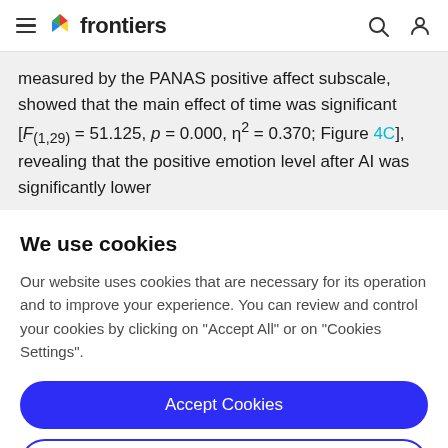frontiers
measured by the PANAS positive affect subscale, showed that the main effect of time was significant [F(1,29) = 51.125, p = 0.000, η² = 0.370; Figure 4C], revealing that the positive emotion level after AI was significantly lower
We use cookies
Our website uses cookies that are necessary for its operation and to improve your experience. You can review and control your cookies by clicking on "Accept All" or on "Cookies Settings".
Accept Cookies
Cookies Settings